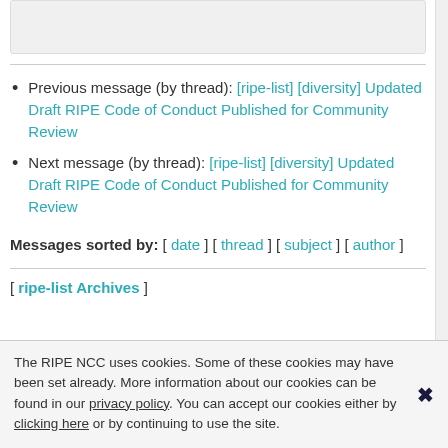Previous message (by thread): [ripe-list] [diversity] Updated Draft RIPE Code of Conduct Published for Community Review
Next message (by thread): [ripe-list] [diversity] Updated Draft RIPE Code of Conduct Published for Community Review
Messages sorted by: [ date ] [ thread ] [ subject ] [ author ]
[ ripe-list Archives ]
The RIPE NCC uses cookies. Some of these cookies may have been set already. More information about our cookies can be found in our privacy policy. You can accept our cookies either by clicking here or by continuing to use the site.